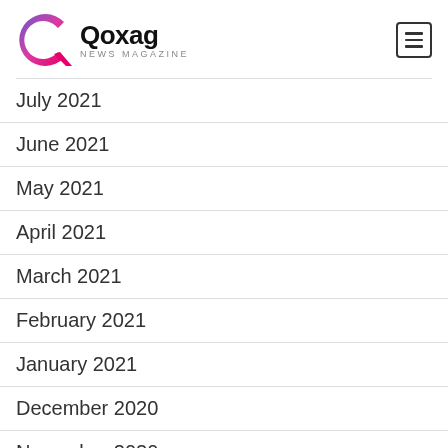Qoxag NEWS MAGAZINE
July 2021
June 2021
May 2021
April 2021
March 2021
February 2021
January 2021
December 2020
November 2020